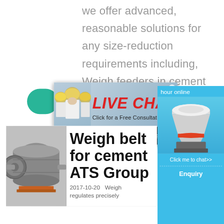we offer advanced, reasonable solutions for any size-reduction requirements including, Weigh feeders in cement industry, quarry, aggregate, and different kinds of minerals.
[Figure (screenshot): Live chat popup overlay showing workers in hard hats, LIVE CHAT title in red italic text, 'Click for a Free Consultation' subtitle, and two buttons: 'Chat now' (red) and 'Chat later' (dark gray)]
[Figure (photo): Industrial ball mill machine in a factory setting, gray metal cylindrical equipment]
Weigh belt for cement ATS Group
2017-10-20   Weigh
regulates precisely
[Figure (photo): Industrial cone crusher machine in right sidebar against blue background]
hour online
Click me to chat>>
Enquiry